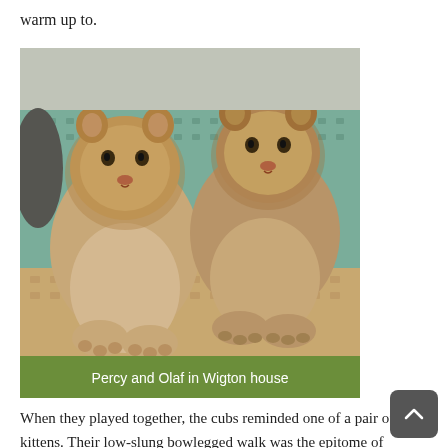warm up to.
[Figure (photo): Two lion cubs resting on a patterned sofa/couch inside a house. The sofa has a teal/green floral pattern. The cubs are facing forward with their paws draped over the front of the couch. Caption bar at bottom reads: Percy and Olaf in Wigton house]
Percy and Olaf in Wigton house
When they played together, the cubs reminded one of a pair of kittens. Their low-slung bowlegged walk was the epitome of awkwardness, yet there was stealthy grace in their movements when they pursued a bird or some imaginary foe. They wrestled together,